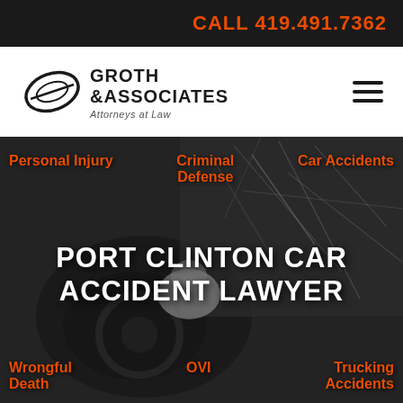CALL 419.491.7362
[Figure (logo): Groth & Associates Attorneys at Law logo with oval swoosh graphic]
[Figure (photo): Black and white photo of car interior with shattered windshield and person slumped over steering wheel]
Personal Injury
Criminal Defense
Car Accidents
PORT CLINTON CAR ACCIDENT LAWYER
Wrongful Death
OVI
Trucking Accidents